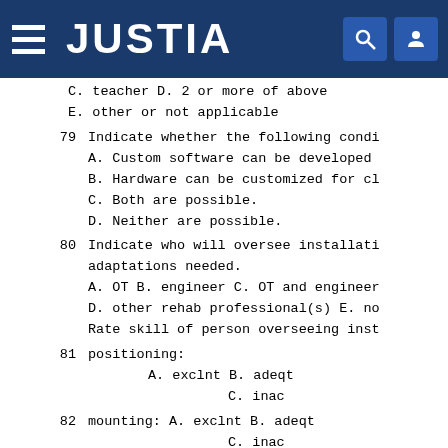JUSTIA
C. teacher D. 2 or more of above
E. other or not applicable
79  Indicate whether the following condi... A. Custom software can be developed B. Hardware can be customized for cl... C. Both are possible. D. Neither are possible.
80  Indicate who will oversee installati... adaptations needed. A. OT B. engineer C. OT and engineer D. other rehab professional(s) E. no... Rate skill of person overseeing inst...
81  positioning: A. exclnt B. adeqt C. inac...
82  mounting: A. exclnt B. adeqt C. inac...